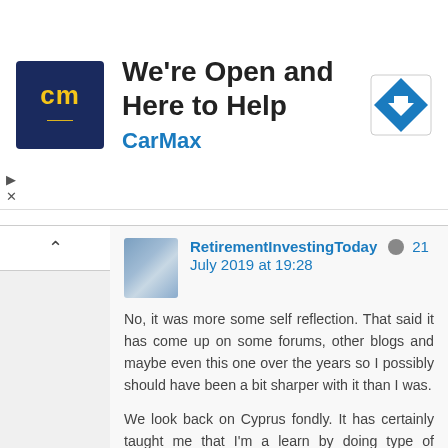[Figure (other): CarMax advertisement banner with logo, headline 'We're Open and Here to Help', brand name 'CarMax', and a blue diamond arrow icon. Play and close (X) controls visible.]
RetirementInvestingToday [edit icon] 21 July 2019 at 19:28

No, it was more some self reflection. That said it has come up on some forums, other blogs and maybe even this one over the years so I possibly should have been a bit sharper with it than I was.

We look back on Cyprus fondly. It has certainly taught me that I'm a learn by doing type of person though. Trystorming vs brainstorming I guess. So for our next moves I need to figure out how to "try before I buy" without too much upheaval.

In hindsight I was good at my work but I'm now coming to realise that over a long period of time it